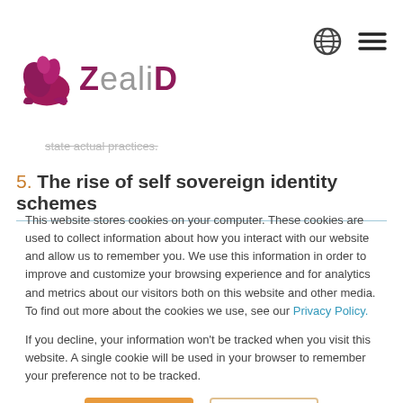[Figure (logo): ZealiD logo with a pink/maroon stylized figure and grey/maroon text]
state actual practices.
5. The rise of self sovereign identity schemes
This website stores cookies on your computer. These cookies are used to collect information about how you interact with our website and allow us to remember you. We use this information in order to improve and customize your browsing experience and for analytics and metrics about our visitors both on this website and other media. To find out more about the cookies we use, see our Privacy Policy.
If you decline, your information won't be tracked when you visit this website. A single cookie will be used in your browser to remember your preference not to be tracked.
Accept   Decline